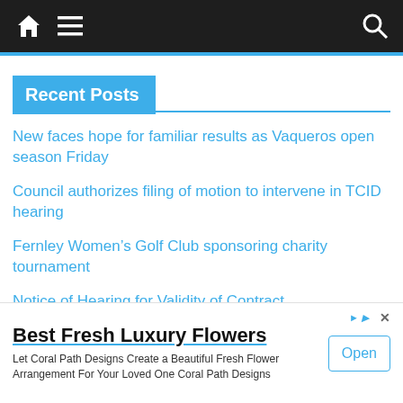Navigation bar with home icon, menu icon, search icon
Recent Posts
New faces hope for familiar results as Vaqueros open season Friday
Council authorizes filing of motion to intervene in TCID hearing
Fernley Women's Golf Club sponsoring charity tournament
Notice of Hearing for Validity of Contract
identified as Fernley man in fatal crash near Lovelock
[Figure (screenshot): Advertisement banner: Best Fresh Luxury Flowers - Let Coral Path Designs Create a Beautiful Fresh Flower Arrangement For Your Loved One Coral Path Designs. Open button on right.]